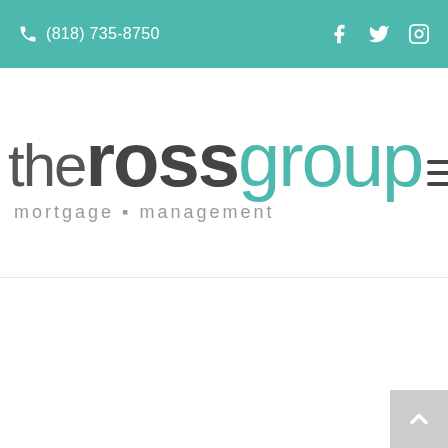(818) 735-8750
[Figure (logo): The Ross Group mortgage management company logo with teal and dark grey text]